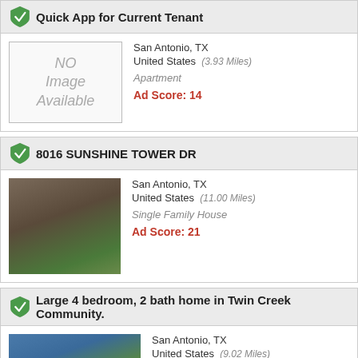Quick App for Current Tenant
San Antonio, TX
United States (3.93 Miles)
Apartment
Ad Score: 14
8016 SUNSHINE TOWER DR
San Antonio, TX
United States (11.00 Miles)
Single Family House
Ad Score: 21
Large 4 bedroom, 2 bath home in Twin Creek Community.
San Antonio, TX
United States (9.02 Miles)
Single Family House
Ad Score: 49